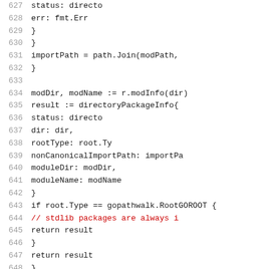Code listing lines 627-648, Go source code showing directory package info construction
[Figure (screenshot): Source code listing in Go language, lines 627-648, showing construction of directoryPackageInfo struct and conditional return logic]